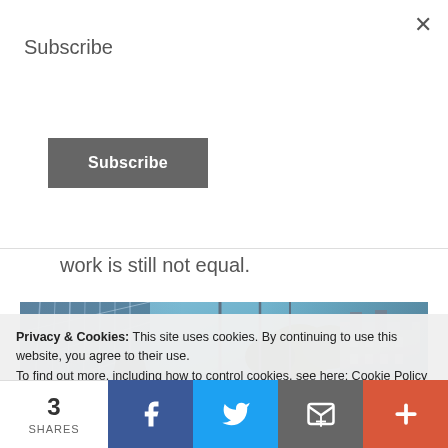Subscribe
Subscribe (button)
work is still not equal.
[Figure (photo): Urban scene with glass and steel architectural structure, a person with backpack visible, city buildings in background, blue-toned lighting]
Privacy & Cookies: This site uses cookies. By continuing to use this website, you agree to their use.
To find out more, including how to control cookies, see here: Cookie Policy
3 SHARES